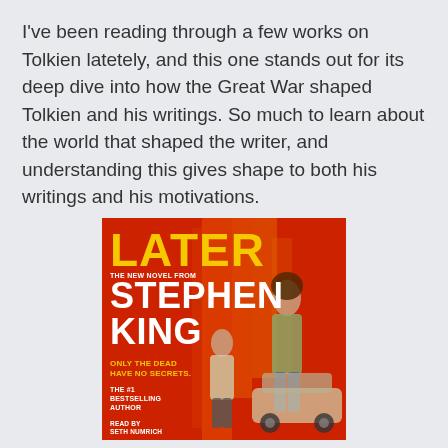I've been reading through a few works on Tolkien latetely, and this one stands out for its deep dive into how the Great War shaped Tolkien and his writings. So much to learn about the world that shaped the writer, and understanding this gives shape to both his writings and his motivations.
[Figure (illustration): Book cover of 'Later' by Stephen King. Red/orange background with flame texture. Large yellow title 'LATER' at top, subtitle 'THE NEW NOVEL FROM STEPHEN KING' in white bold text. Tagline 'ONLY THE DEAD HAVE NO SECRETS.' in yellow. Bottom text 'THE #1 BESTSELLING AUTHOR', 'READ BY SETH NUMRICH'. Two figures and a car on the right side of the cover.]